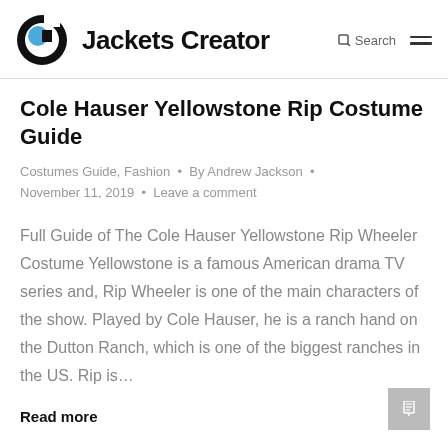Jackets Creator  Search
Cole Hauser Yellowstone Rip Costume Guide
Costumes Guide, Fashion · By Andrew Jackson · November 11, 2019 · Leave a comment
Full Guide of The Cole Hauser Yellowstone Rip Wheeler Costume Yellowstone is a famous American drama TV series and, Rip Wheeler is one of the main characters of the show. Played by Cole Hauser, he is a ranch hand on the Dutton Ranch, which is one of the biggest ranches in the US. Rip is…
Read more